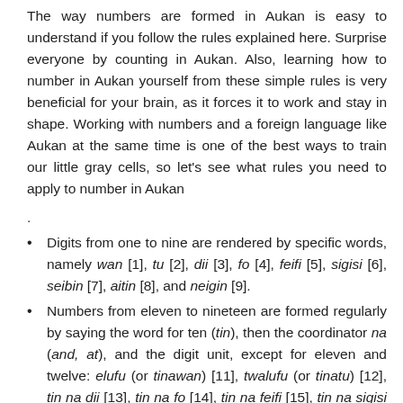The way numbers are formed in Aukan is easy to understand if you follow the rules explained here. Surprise everyone by counting in Aukan. Also, learning how to number in Aukan yourself from these simple rules is very beneficial for your brain, as it forces it to work and stay in shape. Working with numbers and a foreign language like Aukan at the same time is one of the best ways to train our little gray cells, so let's see what rules you need to apply to number in Aukan
.
Digits from one to nine are rendered by specific words, namely wan [1], tu [2], dii [3], fo [4], feifi [5], sigisi [6], seibin [7], aitin [8], and neigin [9].
Numbers from eleven to nineteen are formed regularly by saying the word for ten (tin), then the coordinator na (and, at), and the digit unit, except for eleven and twelve: elufu (or tinawan) [11], twalufu (or tinatu) [12], tin na dii [13], tin na fo [14], tin na feifi [15], tin na sigisi [16], tin na